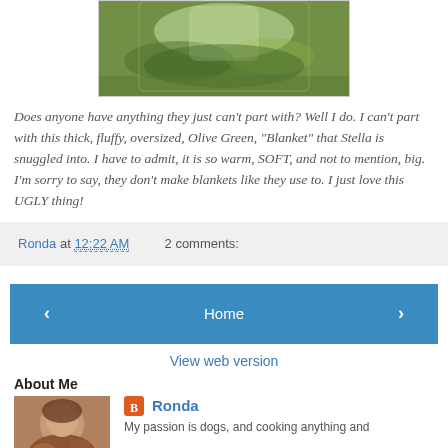[Figure (photo): Photo of an olive green blanket with a cat/dog snuggled in it, viewed from above, green and textured.]
Does anyone have anything they just can't part with? Well I do. I can't part with this thick, fluffy, oversized, Olive Green, "Blanket" that Stella is snuggled into. I have to admit, it is so warm, SOFT, and not to mention, big. I'm sorry to say, they don't make blankets like they use to. I just love this UGLY thing!
Ronda at 12:22 AM  2 comments:
Home
View web version
About Me
[Figure (photo): Profile photo of Ronda, a woman with curly brown hair.]
Ronda
My passion is dogs, and cooking anything and